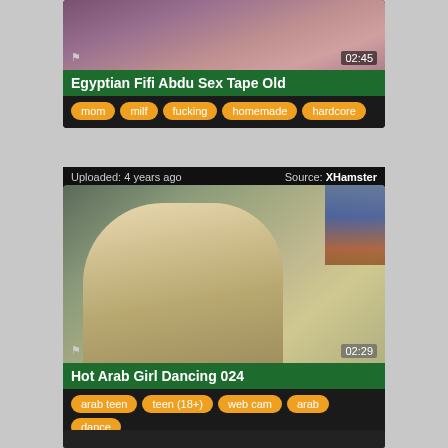[Figure (screenshot): Video thumbnail 1 - Egyptian Fifi Abdu Sex Tape Old, duration 02:45]
Egyptian Fifi Abdu Sex Tape Old
mom | milf | fucking | homemade | hardcore
Uploaded: 4 years ago   Source: XHamster
[Figure (screenshot): Video thumbnail 2 - Hot Arab Girl Dancing 024, duration 02:29]
Hot Arab Girl Dancing 024
arab teen | teen (18+) | web cam | arab | dance